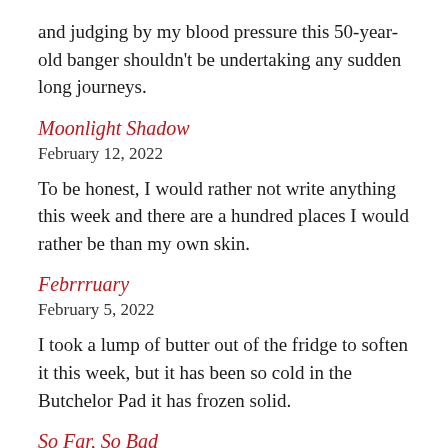and judging by my blood pressure this 50-year-old banger shouldn't be undertaking any sudden long journeys.
Moonlight Shadow
February 12, 2022
To be honest, I would rather not write anything this week and there are a hundred places I would rather be than my own skin.
Febrrruary
February 5, 2022
I took a lump of butter out of the fridge to soften it this week, but it has been so cold in the Butchelor Pad it has frozen solid.
So Far, So Bad